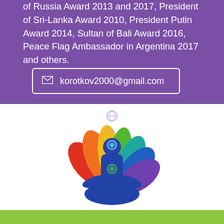of Russia Award 2013 and 2017, President of Sri-Lanka Award 2010, President Putin Award 2014, Sultan of Bali Award 2016, Peace Flag Ambassador in Argentina 2017 and others.
korotkov2000@gmail.com
[Figure (illustration): A meditating figure in blue silhouette seated in lotus position with colorful lotus petals in red, orange, yellow, green, teal, blue and purple behind them. Small chakra symbols are visible on the body. A small globe/earth symbol appears above the head.]